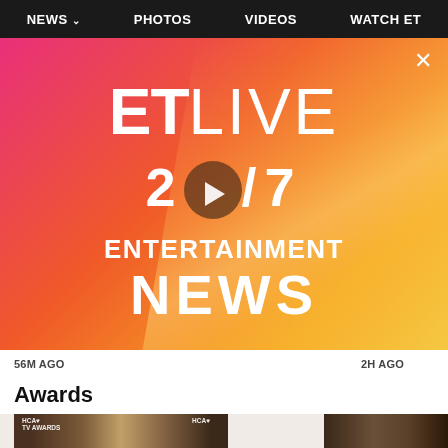NEWS ∨   PHOTOS   VIDEOS   WATCH ET
[Figure (screenshot): ET LIVE 24/7 ENTERTAINMENT NEWS branded video player with gradient pink-orange-yellow background, play button overlay, and close X button]
56M AGO
2H AGO
Awards
[Figure (photo): Photo of two women at HCA TV Awards red carpet event]
[Figure (photo): Photo of a man at an awards event]